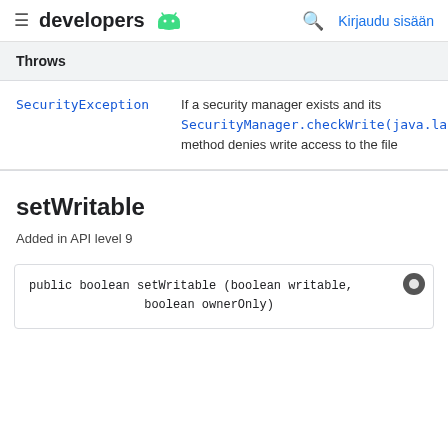developers | Kirjaudu sisään
| Throws |  |
| --- | --- |
| SecurityException | If a security manager exists and its SecurityManager.checkWrite(java.lang.String) method denies write access to the file |
setWritable
Added in API level 9
public boolean setWritable (boolean writable,
                boolean ownerOnly)